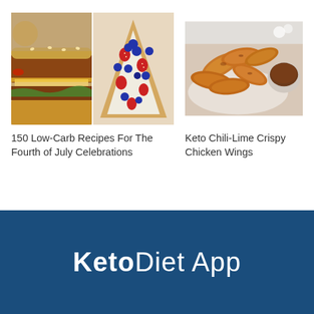[Figure (photo): Two food photos side by side: left shows stacked burgers, right shows a berry-topped flatbread pizza]
150 Low-Carb Recipes For The Fourth of July Celebrations
[Figure (photo): Crispy chicken wings on a plate with a dipping sauce bowl]
Keto Chili-Lime Crispy Chicken Wings
KetoDiet App